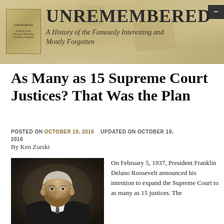UNREMEMBERED — A History of the Famously Interesting and Mostly Forgotten
As Many as 15 Supreme Court Justices? That Was the Plan
POSTED ON OCTOBER 19, 2016   UPDATED ON OCTOBER 19, 2016
By Ken Zurski
[Figure (photo): Portrait photograph of Franklin Delano Roosevelt, an older white man in a dark suit, against a dark background.]
On February 5, 1937, President Franklin Delano Roosevelt announced his intention to expand the Supreme Court to as many as 15 justices. The